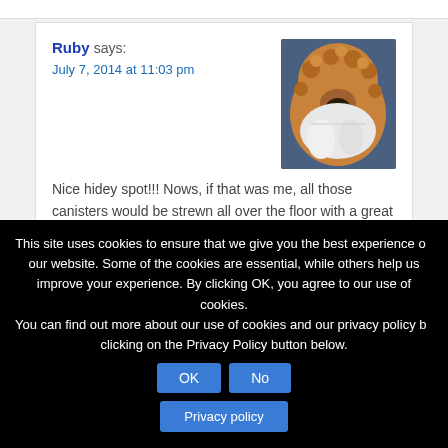Ruby says: July 7, 2014 at 11:03 pm
Nice hidey spot!!! Nows, if that was me, all those canisters would be strewn all over the floor with a great BANG!
I guess that is the difference between kittehs and doggies...we are NOT subtle!! BOL
Kisses,
Ruby ♥
Reply
Susan C. Willett says:
This site uses cookies to ensure that we give you the best experience on our website. Some of the cookies are essential, while others help us improve your experience. By clicking OK, you agree to our use of cookies. You can find out more about our use of cookies and our privacy policy by clicking on the Privacy Policy button below.